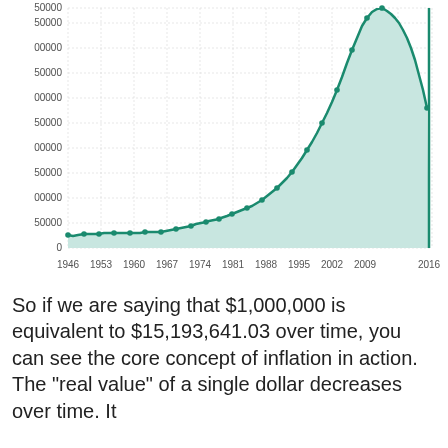[Figure (area-chart): Area chart showing cumulative dollar value growth from 1946 to 2016, starting around 25000-30000 and rising steeply to approximately 40000 at the end before dropping sharply. Y-axis labels: 0, 50000, 00000, 50000, 00000, 50000, 00000, 50000, 00000, 50000. X-axis labels: 1946, 1953, 1960, 1967, 1974, 1981, 1988, 1995, 2002, 2009, 2016.]
So if we are saying that $1,000,000 is equivalent to $15,193,641.03 over time, you can see the core concept of inflation in action. The "real value" of a single dollar decreases over time. It